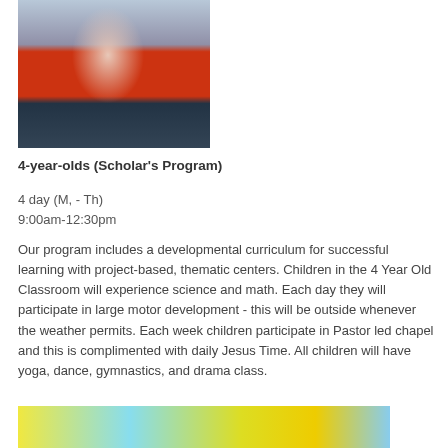[Figure (photo): Young boy in a red shirt holding a stick or bat, standing in what appears to be a classroom or gym setting]
4-year-olds (Scholar's Program)
4 day (M, - Th)
9:00am-12:30pm
Our program includes a developmental curriculum for successful learning with project-based, thematic centers. Children in the 4 Year Old Classroom will experience science and math. Each day they will participate in large motor development - this will be outside whenever the weather permits. Each week children participate in Pastor led chapel and this is complimented with daily Jesus Time. All children will have yoga, dance, gymnastics, and drama class.
[Figure (photo): Colorful art supplies or craft materials, yellow and blue colors visible at the bottom of the page]